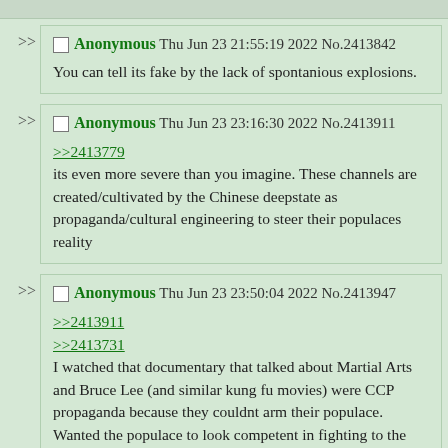>> Anonymous Thu Jun 23 21:55:19 2022 No.2413842
You can tell its fake by the lack of spontanious explosions.
>> Anonymous Thu Jun 23 23:16:30 2022 No.2413911
>>2413779
its even more severe than you imagine. These channels are created/cultivated by the Chinese deepstate as propaganda/cultural engineering to steer their populaces reality
>> Anonymous Thu Jun 23 23:50:04 2022 No.2413947
>>2413911
>>2413731
I watched that documentary that talked about Martial Arts and Bruce Lee (and similar kung fu movies) were CCP propaganda because they couldnt arm their populace.
Wanted the populace to look competent in fighting to the western world, to discourage boots on the ground if you to break out.